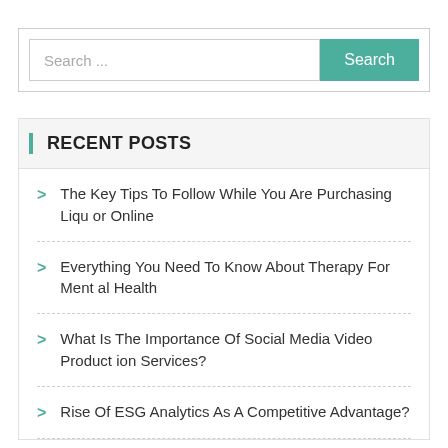Search ...
RECENT POSTS
The Key Tips To Follow While You Are Purchasing Liquor Online
Everything You Need To Know About Therapy For Mental Health
What Is The Importance Of Social Media Video Production Services?
Rise Of ESG Analytics As A Competitive Advantage?
Benefits To Independent Living For Seniors